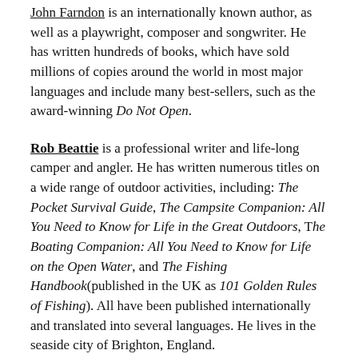John Farndon is an internationally known author, as well as a playwright, composer and songwriter. He has written hundreds of books, which have sold millions of copies around the world in most major languages and include many best-sellers, such as the award-winning Do Not Open.
Rob Beattie is a professional writer and life-long camper and angler. He has written numerous titles on a wide range of outdoor activities, including: The Pocket Survival Guide, The Campsite Companion: All You Need to Know for Life in the Great Outdoors, The Boating Companion: All You Need to Know for Life on the Open Water, and The Fishing Handbook(published in the UK as 101 Golden Rules of Fishing). All have been published internationally and translated into several languages. He lives in the seaside city of Brighton, England.